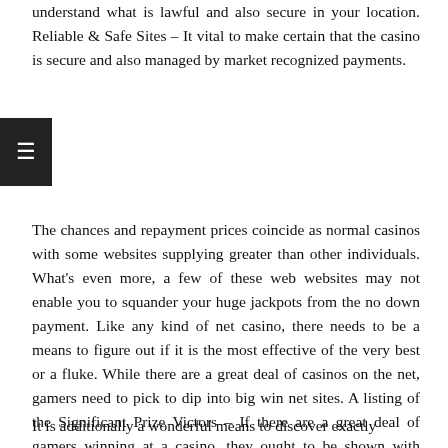understand what is lawful and also secure in your location. Reliable & Safe Sites – It vital to make certain that the casino is secure and also managed by market recognized payments.
The chances and repayment prices coincide as normal casinos with some websites supplying greater than other individuals. What's even more, a few of these web websites may not enable you to squander your huge jackpots from the no down payment. Like any kind of net casino, there needs to be a means to figure out if it is the most effective of the very best or a fluke. While there are a great deal of casinos on the net, gamers need to pick to dip into big win net sites. A listing of the Significant Prize Victors – If there are a great deal of gamers winning at a casino, they ought to be shown with confidence on the casino website together with the casino video game they won from.
It is additionally a wonderful means to discover exactly